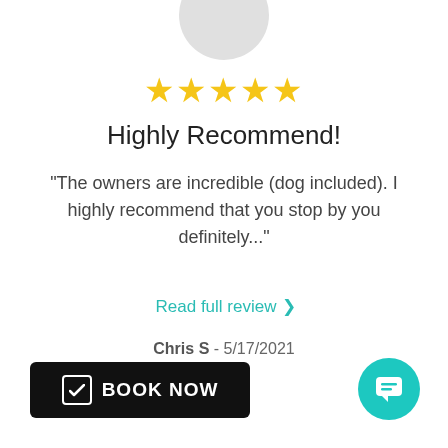[Figure (illustration): Gray circular avatar/profile photo placeholder at top center]
[Figure (other): Five gold star rating icons]
Highly Recommend!
"The owners are incredible (dog included). I highly recommend that you stop by you definitely..."
Read full review >
Chris S - 5/17/2021
[Figure (other): Black BOOK NOW button with checkbox icon]
[Figure (other): Teal circular chat/message button in bottom right corner]